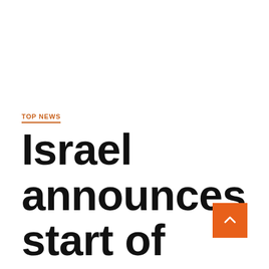TOP NEWS
Israel announces start of third dose of Pfizer's